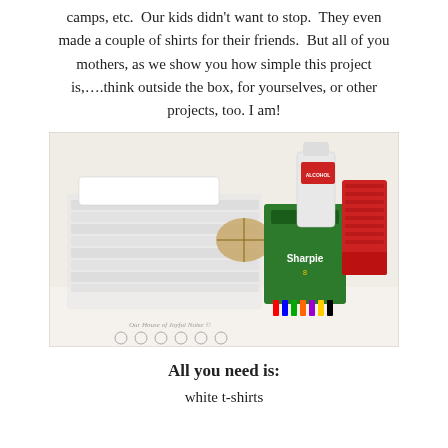camps, etc.  Our kids didn't want to stop.  They even made a couple of shirts for their friends.  But all of you mothers, as we show you how simple this project is,….think outside the box, for yourselves, or other projects, too. I am!
[Figure (photo): A flat lay photo showing craft supplies: stacked white t-shirts, Sharpie markers in a green box, rubber bands tied with twine, a bottle of rubbing alcohol, and red plastic cups, all arranged on a white surface. Watermark reads 'Our House of Joyful Noise ©']
All you need is:
white t-shirts